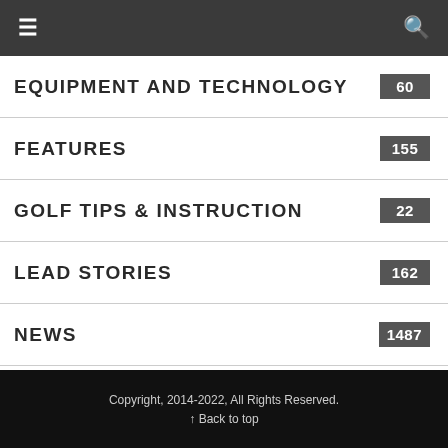≡  🔍
EQUIPMENT AND TECHNOLOGY  60
FEATURES  155
GOLF TIPS & INSTRUCTION  22
LEAD STORIES  162
NEWS  1487
Copyright, 2014-2022, All Rights Reserved. ↑ Back to top